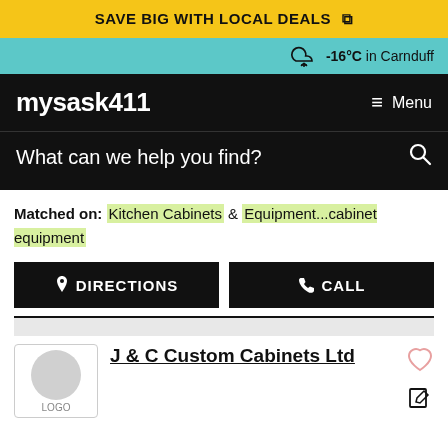SAVE BIG WITH LOCAL DEALS
-16°C in Carnduff
mysask411  Menu
What can we help you find?
Matched on: Kitchen Cabinets & Equipment...cabinet equipment
DIRECTIONS  CALL
J & C Custom Cabinets Ltd